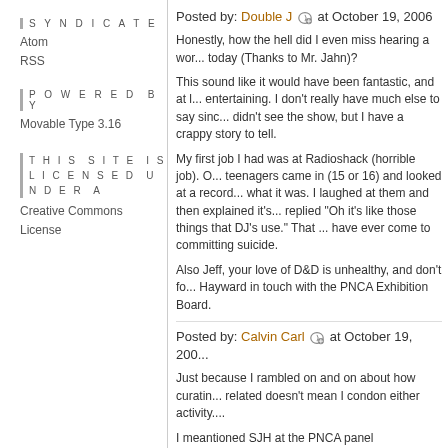SYNDICATE
Atom
RSS
POWERED BY
Movable Type 3.16
THIS SITE IS LICENSED UNDER A
Creative Commons License
Posted by: Double J at October 19, 2006
Honestly, how the hell did I even miss hearing a wor... today (Thanks to Mr. Jahn)?
This sound like it would have been fantastic, and at l... entertaining. I don't really have much else to say sinc... didn't see the show, but I have a crappy story to tell.
My first job I had was at Radioshack (horrible job). O... teenagers came in (15 or 16) and looked at a record... what it was. I laughed at them and then explained it's... replied "Oh it's like those things that DJ's use." That ... have ever come to committing suicide.
Also Jeff, your love of D&D is unhealthy, and don't fo... Hayward in touch with the PNCA Exhibition Board.
Posted by: Calvin Carl at October 19, 200...
Just because I rambled on and on about how curatin... related doesn't mean I condon either activity....
I meantioned SJH at the PNCA panel discussion... I... feels about this art show?
Also, the Ranchero is a 1977 vintage, the same year... came out... they love Foghat.
Posted by: Double J at October 19, 2006
I truly appreciate how much conversation this exhibition/performance/interactive project has incited...